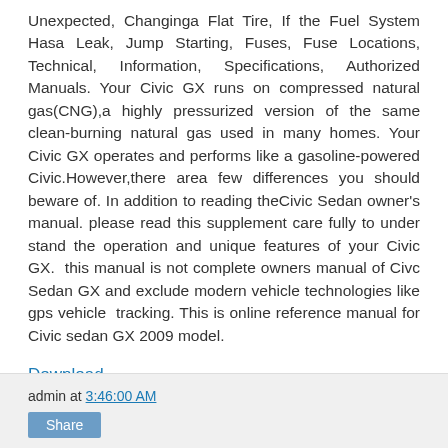Unexpected, Changinga Flat Tire, If the Fuel System Hasa Leak, Jump Starting, Fuses, Fuse Locations, Technical, Information, Specifications, Authorized Manuals. Your Civic GX runs on compressed natural gas(CNG),a highly pressurized version of the same clean-burning natural gas used in many homes. Your Civic GX operates and performs like a gasoline-powered Civic.However,there area few differences you should beware of. In addition to reading theCivic Sedan owner's manual. please read this supplement care fully to under stand the operation and unique features of your Civic GX.  this manual is not complete owners manual of Civc Sedan GX and exclude modern vehicle technologies like gps vehicle  tracking. This is online reference manual for Civic sedan GX 2009 model.
Download
admin at 3:46:00 AM